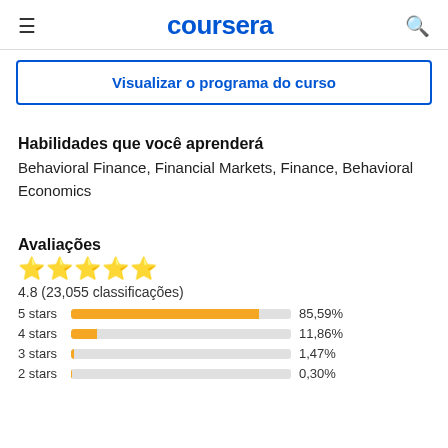coursera
Visualizar o programa do curso
Habilidades que você aprenderá
Behavioral Finance, Financial Markets, Finance, Behavioral Economics
Avaliações
[Figure (bar-chart): Avaliações]